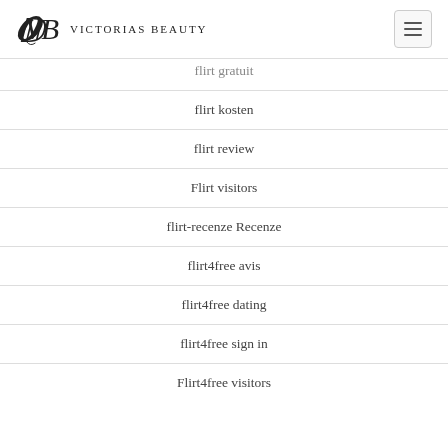Victorias Beauty
flirt gratuit
flirt kosten
flirt review
Flirt visitors
flirt-recenze Recenze
flirt4free avis
flirt4free dating
flirt4free sign in
Flirt4free visitors